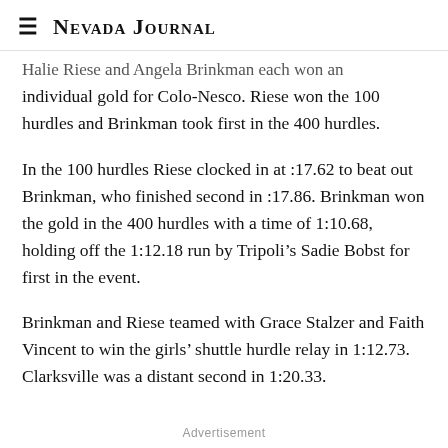Nevada Journal
Halie Riese and Angela Brinkman each won an individual gold for Colo-Nesco. Riese won the 100 hurdles and Brinkman took first in the 400 hurdles.
In the 100 hurdles Riese clocked in at :17.62 to beat out Brinkman, who finished second in :17.86. Brinkman won the gold in the 400 hurdles with a time of 1:10.68, holding off the 1:12.18 run by Tripoli’s Sadie Bobst for first in the event.
Brinkman and Riese teamed with Grace Stalzer and Faith Vincent to win the girls’ shuttle hurdle relay in 1:12.73. Clarksville was a distant second in 1:20.33.
Advertisement